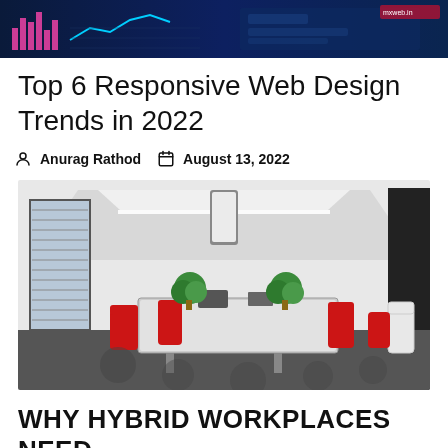[Figure (screenshot): Top banner image showing a dark blue background with colorful charts and graphs, resembling a digital/tech dashboard screenshot]
Top 6 Responsive Web Design Trends in 2022
Anurag Rathod   August 13, 2022
[Figure (photo): Modern conference room with a long white table, red and white chairs, pendant light, window with blinds, and green plants]
WHY HYBRID WORKPLACES NEED